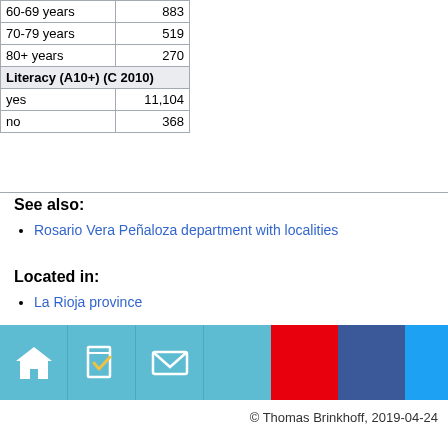|  |  |
| --- | --- |
| 60-69 years | 883 |
| 70-79 years | 519 |
| 80+ years | 270 |
| Literacy (A10+) (C 2010) |  |
| yes | 11,104 |
| no | 368 |
See also:
Rosario Vera Peñaloza department with localities
Located in:
La Rioja province
[Figure (infographic): Footer bar with navigation icons: home, bookmark/check, email, and social media icons (red, dark blue, light blue). Teal/cyan background.]
© Thomas Brinkhoff, 2019-04-24